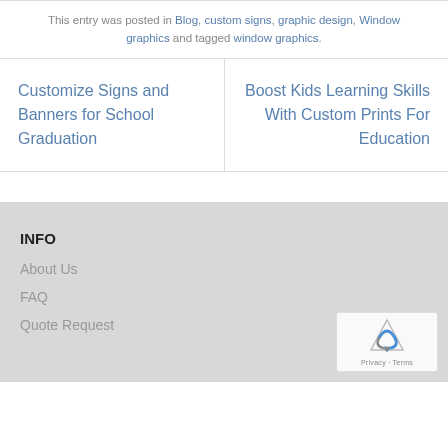This entry was posted in Blog, custom signs, graphic design, Window graphics and tagged window graphics.
Customize Signs and Banners for School Graduation
Boost Kids Learning Skills With Custom Prints For Education
INFO
About Us
FAQ
Quote Request